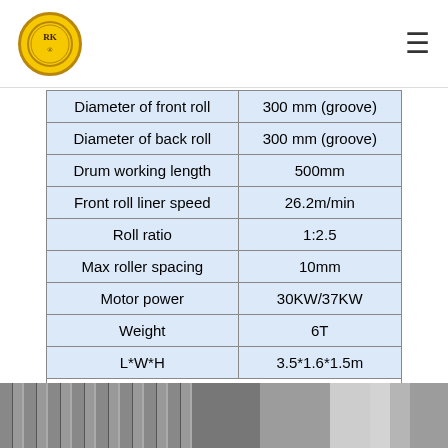Logo and navigation menu icon
| Parameter | Value |
| --- | --- |
| Diameter of front roll | 300 mm (groove) |
| Diameter of back roll | 300 mm (groove) |
| Drum working length | 500mm |
| Front roll liner speed | 26.2m/min |
| Roll ratio | 1:2.5 |
| Max roller spacing | 10mm |
| Motor power | 30KW/37KW |
| Weight | 6T |
| L*W*H | 3.5*1.6*1.5m |
Tips: Both rollers are grooved which can improve the output. Roller material is Alloy 5Cr6MnMo. There are 8 pieces bearing inside the machine , all rolling bearing.
[Figure (photo): Industrial machine photo showing vertical metal panels and bright lighting]